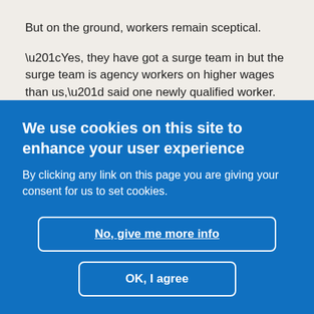But on the ground, workers remain sceptical.
“Yes, they have got a surge team in but the surge team is agency workers on higher wages than us,” said one newly qualified worker. “They have taking our lower end
We use cookies on this site to enhance your user experience
By clicking any link on this page you are giving your consent for us to set cookies.
No, give me more info
OK, I agree